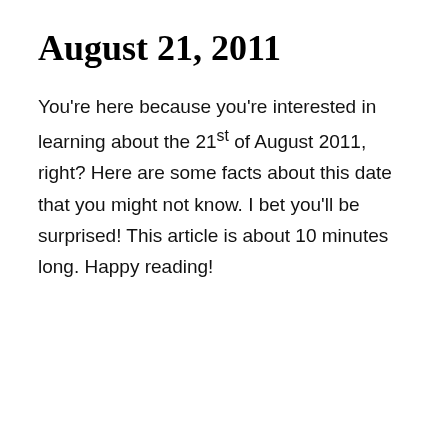August 21, 2011
You're here because you're interested in learning about the 21st of August 2011, right? Here are some facts about this date that you might not know. I bet you'll be surprised! This article is about 10 minutes long. Happy reading!